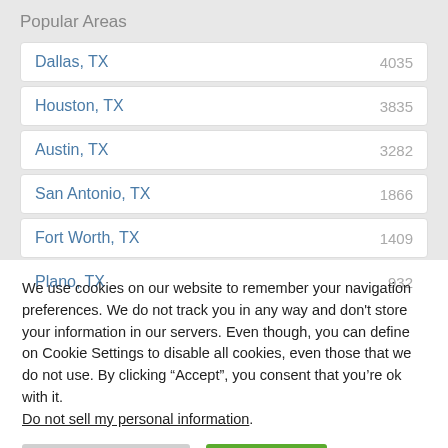Popular Areas
Dallas, TX 4035
Houston, TX 3835
Austin, TX 3282
San Antonio, TX 1866
Fort Worth, TX 1409
Plano, TX 932
We use cookies on our website to remember your navigation preferences. We do not track you in any way and don't store your information in our servers. Even though, you can define on Cookie Settings to disable all cookies, even those that we do not use. By clicking “Accept”, you consent that you’re ok with it.
Do not sell my personal information.
Cookie Settings  Accept